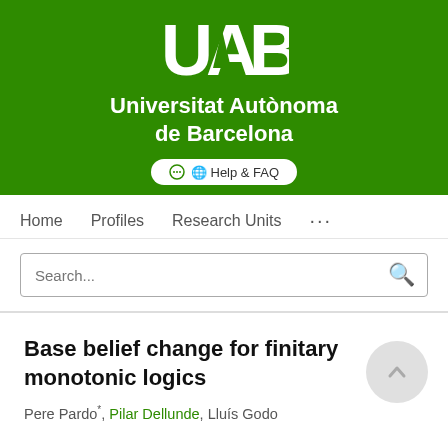[Figure (logo): UAB (Universitat Autònoma de Barcelona) logo and name on green banner with Help & FAQ button]
Home   Profiles   Research Units   ...
Search...
Base belief change for finitary monotonic logics
Pere Pardo*, Pilar Dellunde, Lluís Godo